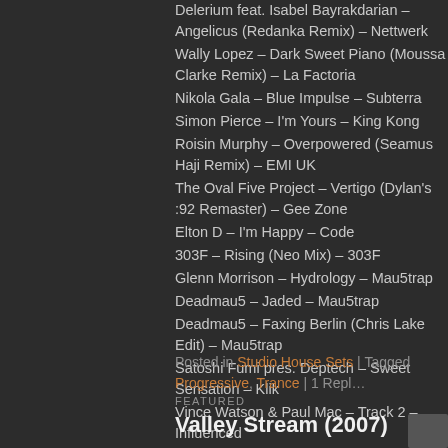Delerium feat. Isabel Bayrakdarian – Angelicus (Redanka Remix) – Nettwerk
Wally Lopez – Dark Sweet Piano (Moussa Clarke Remix) – La Factoria
Nikola Gala – Blue Impulse – Subterra
Simon Pierce – I'm Yours – King Kong
Roisin Murphy – Overpowered (Seamus Haji Remix) – EMI UK
The Oval Five Project – Vertigo (Dylan's :92 Remaster) – Gee Zone
Elton D – I'm Happy – Code
303F – Rising (Neo Mix) – 303F
Glenn Morrison – Hydrology – Mau5trap
Deadmau5 – Jaded – Mau5trap
Deadmau5 – Faxing Berlin (Chris Lake Edit) – Mau5trap
Satoshi Fumi pres. Deptech – Sweet Sensation – Klik
Vince Watson & Paul Mac – Track 2 – Influenced
outro
Posted in Studio House Sets | Tagged Progressive, Trance | 1 Reply
FEATURED
Valley Stream (2007)